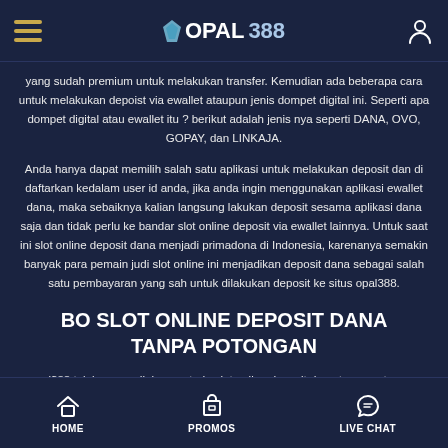OPAL388
yang sudah premium untuk melakukan transfer. Kemudian ada beberapa cara untuk melakukan depoist via ewallet ataupun jenis dompet digital ini. Seperti apa dompet digital atau ewallet itu ? berikut adalah jenis nya seperti DANA, OVO, GOPAY, dan LINKAJA.
Anda hanya dapat memilih salah satu aplikasi untuk melakukan deposit dan di daftarkan kedalam user id anda, jika anda ingin menggunakan aplikasi ewallet dana, maka sebaiknya kalian langsung lakukan deposit sesama aplikasi dana saja dan tidak perlu ke bandar slot online deposit via ewallet lainnya. Untuk saat ini slot online deposit dana menjadi primadona di Indonesia, karenanya semakin banyak para pemain judi slot online ini menjadikan deposit dana sebagai salah satu pembayaran yang sah untuk dilakukan deposit ke situs opal388.
BO SLOT ONLINE DEPOSIT DANA TANPA POTONGAN
opal388 telah menyediakan metode slot online deposit dana tanpa potongan yang mempermudah para pemain. Metode dana saat ini mengalami banyak peningkatan seiring berjalannya waktu, kalian juga bisa melakukan deposit via dana 10000. Dengan cara kalian
HOME   PROMOS   LIVE CHAT